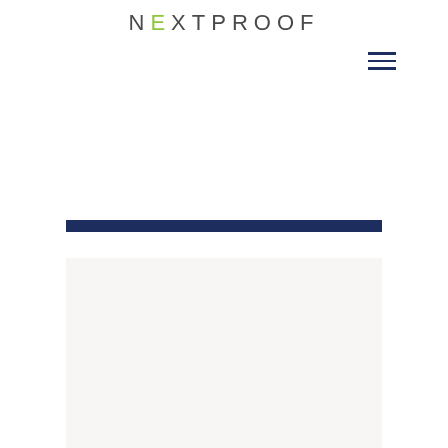NEXTPROOF
[Figure (other): Hamburger menu icon (three horizontal lines) for navigation]
[Figure (other): Dark navy blue horizontal bar serving as a section divider]
[Figure (other): Light grey/off-white content box area below the blue bar]